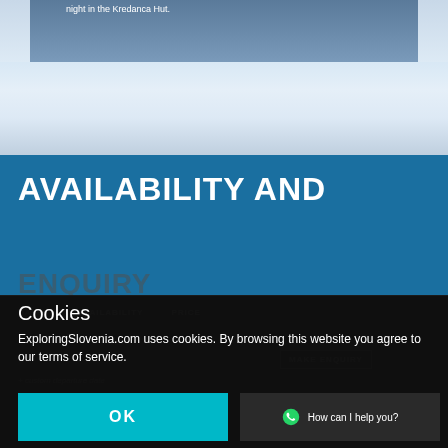[Figure (photo): Snowy mountain landscape with a caption partially visible reading 'night in the Kredanca Hut.' overlaid on a blue-tinted alpine photo]
AVAILABILITY AND ENQUIRY
DATES   AVAILABILITY   PRICE
MAKE ENQUIRY
custom departure date
SEPTEMBER 2022
Cookies
ExploringSlovenia.com uses cookies. By browsing this website you agree to our terms of service.
OK
How can I help you?